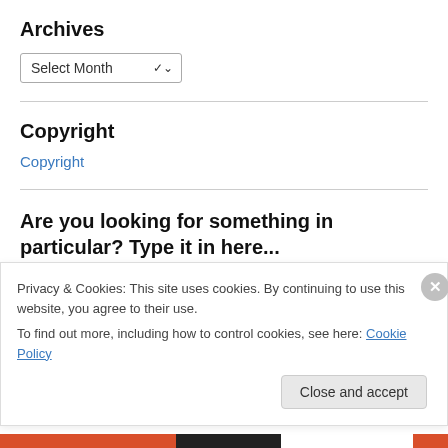Archives
[Figure (screenshot): Select Month dropdown widget]
Copyright
Copyright
Are you looking for something in particular? Type it in here...
Privacy & Cookies: This site uses cookies. By continuing to use this website, you agree to their use.
To find out more, including how to control cookies, see here: Cookie Policy
Close and accept